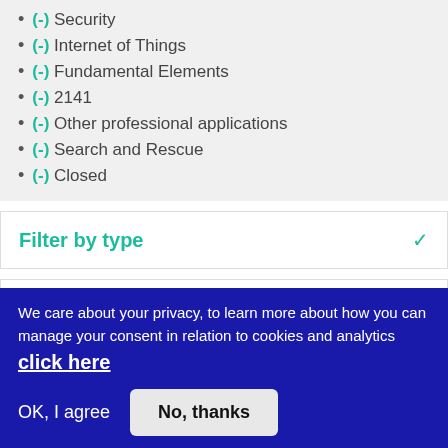(-) Security
(-) Internet of Things
(-) Fundamental Elements
(-) 2141
(-) Other professional applications
(-) Search and Rescue
(-) Closed
Filter by type
Filter by status
We care about your privacy, to learn more about how you can manage your consent in relation to cookies and analytics click here
OK, I agree
No, thanks